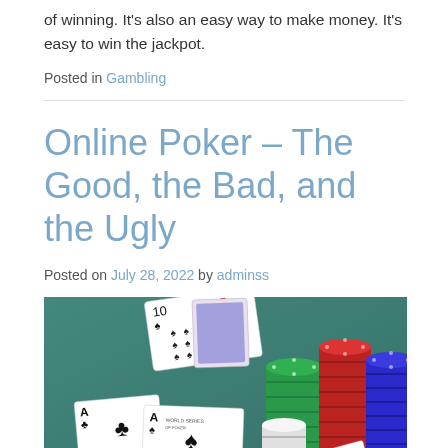of winning. It's also an easy way to make money. It's easy to win the jackpot.
Posted in Gambling
Online Poker – The Good, the Bad, and the Ugly
Posted on July 28, 2022 by adminss
[Figure (photo): Photo of a green poker table with playing cards (ten of spades and another card face down on top, two aces and a spades card below) and stacks of poker chips in green, red, white, and blue colors]